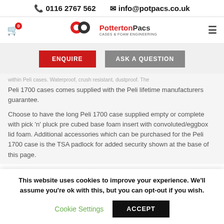📞 0116 2767 562   ✉ info@potpacs.co.uk
[Figure (logo): Potterton Pacs logo with cart icon and hamburger menu]
ENQUIRE   ASK A QUESTION
...Peli 1700 cases comes supplied with the Peli lifetime manufacturers guarantee.
Choose to have the long Peli 1700 case supplied empty or complete with pick 'n' pluck pre cubed base foam insert with convoluted/eggbox lid foam.  Additional accessories which can be purchased for the Peli 1700 case is the TSA padlock for added security shown at the base of this page.
This website uses cookies to improve your experience. We'll assume you're ok with this, but you can opt-out if you wish. Cookie Settings   ACCEPT